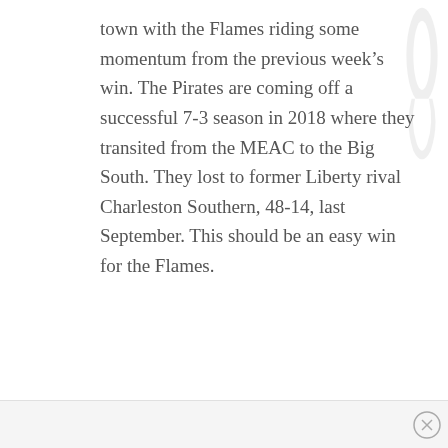town with the Flames riding some momentum from the previous week's win. The Pirates are coming off a successful 7-3 season in 2018 where they transited from the MEAC to the Big South. They lost to former Liberty rival Charleston Southern, 48-14, last September. This should be an easy win for the Flames.